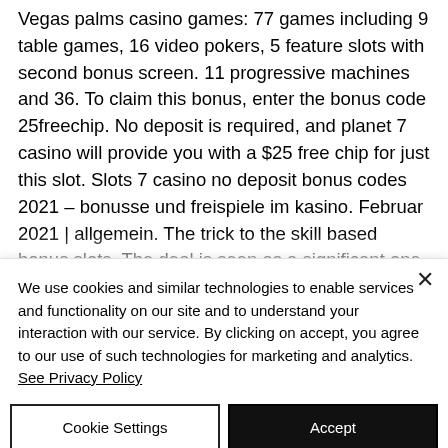Vegas palms casino games: 77 games including 9 table games, 16 video pokers, 5 feature slots with second bonus screen. 11 progressive machines and 36. To claim this bonus, enter the bonus code 25freechip. No deposit is required, and planet 7 casino will provide you with a $25 free chip for just this slot. Slots 7 casino no deposit bonus codes 2021 – bonusse und freispiele im kasino. Februar 2021 | allgemein. The trick to the skill based bonus slots. The deal is seen as a significant one as the daily newspaper has a readership of over 7 million. Es gibt also...
We use cookies and similar technologies to enable services and functionality on our site and to understand your interaction with our service. By clicking on accept, you agree to our use of such technologies for marketing and analytics. See Privacy Policy